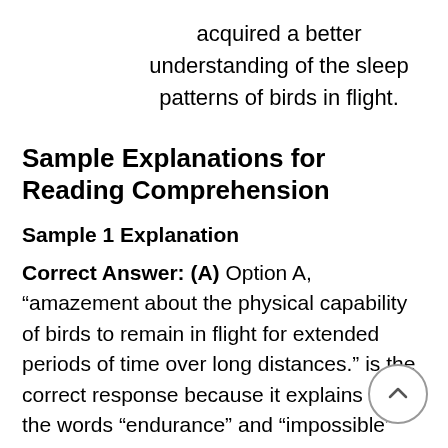acquired a better understanding of the sleep patterns of birds in flight.
Sample Explanations for Reading Comprehension
Sample 1 Explanation
Correct Answer: (A) Option A, “amazement about the physical capability of birds to remain in flight for extended periods of time over long distances.” is the correct response because it explains that the words “endurance” and “impossible” convey amazement at the birds’ ability to remain flight for so long without resting—as opposed